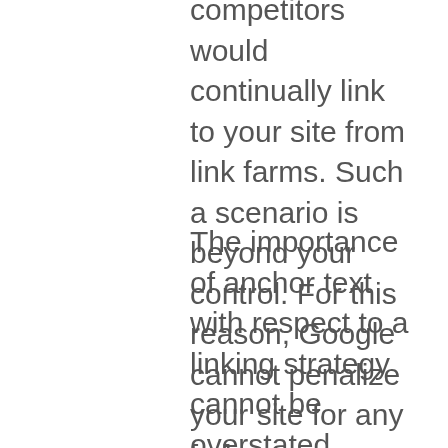competitors would continually link to your site from link farms. Such a scenario is beyond your control. For this reason, Google cannot penalize your site for any [...]
The importance of anchor text with respect to a linking strategy cannot be overstated. Back-links are a huge part of the search engine algorithm. When initiating a linking campaign, it is vital that external sites link using the appropriate keywords and terms in the